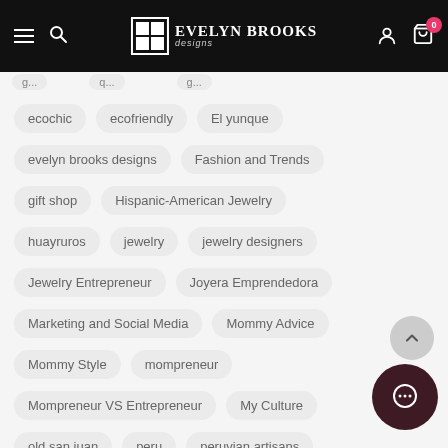Evelyn Brooks Designs — navigation bar
ecochic
ecofriendly
El yunque
evelyn brooks designs
Fashion and Trends
gift shop
Hispanic-American Jewelry
huayruros
jewelry
jewelry designers
Jewelry Entrepreneur
Joyera Emprendedora
Marketing and Social Media
Mommy Advice
Mommy Style
mompreneur
Mompreneur VS Entrepreneur
My Culture
old san juan
peru
peruvian artisans
peruvian huayruros
peruvian jewelry